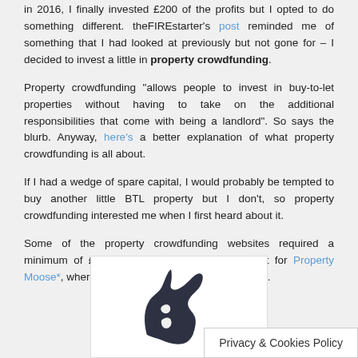in 2016, I finally invested £200 of the profits but I opted to do something different. theFIREstarter's post reminded me of something that I had looked at previously but not gone for – I decided to invest a little in property crowdfunding.
Property crowdfunding "allows people to invest in buy-to-let properties without having to take on the additional responsibilities that come with being a landlord". So says the blurb. Anyway, here's a better explanation of what property crowdfunding is all about.
If I had a wedge of spare capital, I would probably be tempted to buy another little BTL property but I don't, so property crowdfunding interested me when I first heard about it.
Some of the property crowdfunding websites required a minimum of £1000-£5000 investment but I went for Property Moose*, where the minimum investment is just £10.
[Figure (logo): Property Moose logo — dark silhouette of a moose head]
Privacy & Cookies Policy